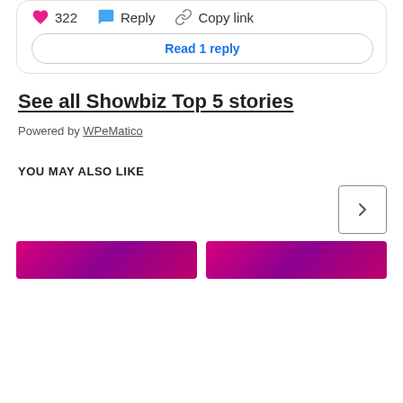322  Reply  Copy link
Read 1 reply
See all Showbiz Top 5 stories
Powered by WPeMatico
YOU MAY ALSO LIKE
[Figure (other): Navigation next button (chevron right) in a square border]
[Figure (other): Two thumbnail images with pink/magenta gradient background]